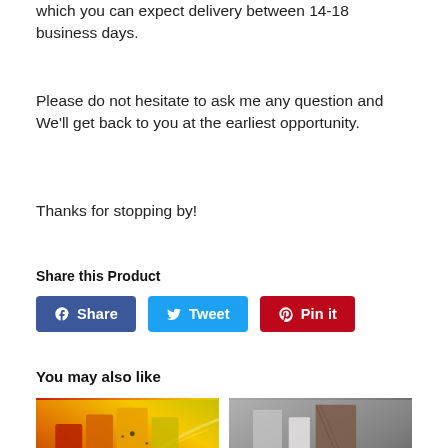which you can expect delivery between 14-18 business days.
Please do not hesitate to ask me any question and We'll get back to you at the earliest opportunity.
Thanks for stopping by!
Share this Product
Share | Tweet | Pin it (social share buttons)
You may also like
[Figure (photo): Two product thumbnail images showing abstract art canvases]
[Figure (photo): Yellow/orange abstract multi-panel canvas art]